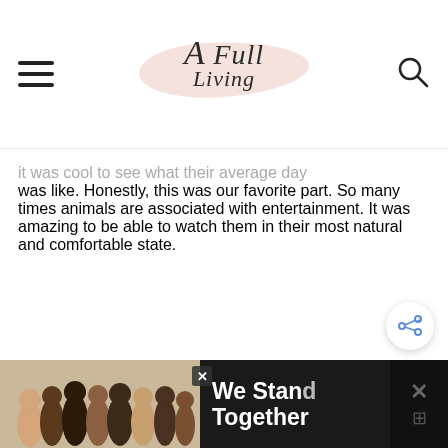A Full Living
it was cool to see what their average day was like. Honestly, this was our favorite part. So many times animals are associated with entertainment. It was amazing to be able to watch them in their most natural and comfortable state.
[Figure (screenshot): Advertisement banner at the bottom showing a group of people from behind with arms around each other, text 'We Stand Together', close button, and brand icon]